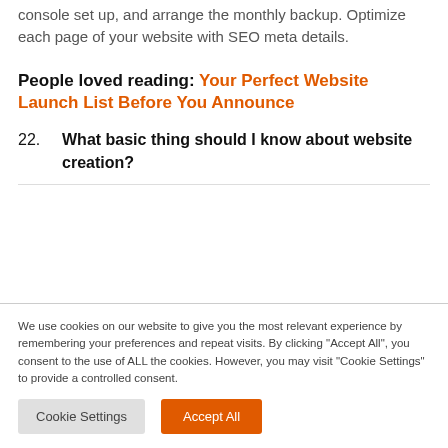console set up, and arrange the monthly backup. Optimize each page of your website with SEO meta details.
People loved reading: Your Perfect Website Launch List Before You Announce
22. What basic thing should I know about website creation?
We use cookies on our website to give you the most relevant experience by remembering your preferences and repeat visits. By clicking "Accept All", you consent to the use of ALL the cookies. However, you may visit "Cookie Settings" to provide a controlled consent.